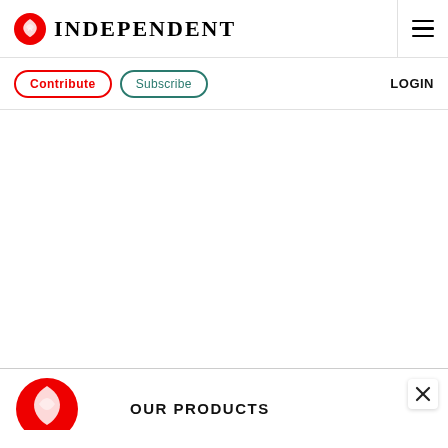INDEPENDENT
Contribute   Subscribe   LOGIN
[Figure (other): White content area, blank advertising/article space]
[Figure (logo): Independent eagle logo (red circle with white eagle, partial view) and OUR PRODUCTS text with close (X) button]